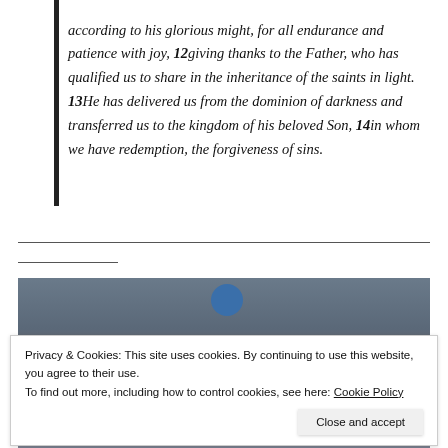according to his glorious might, for all endurance and patience with joy, 12giving thanks to the Father, who has qualified us to share in the inheritance of the saints in light. 13He has delivered us from the dominion of darkness and transferred us to the kingdom of his beloved Son, 14in whom we have redemption, the forgiveness of sins.
[Figure (photo): Partial photo of people, cropped, appearing to show multiple individuals, partially obscured by cookie consent banner]
Privacy & Cookies: This site uses cookies. By continuing to use this website, you agree to their use.
To find out more, including how to control cookies, see here: Cookie Policy
Close and accept